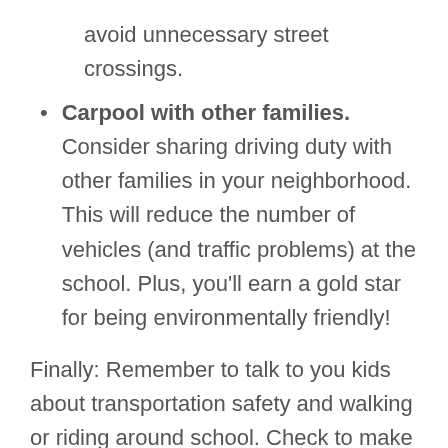avoid unnecessary street crossings.
Carpool with other families. Consider sharing driving duty with other families in your neighborhood. This will reduce the number of vehicles (and traffic problems) at the school. Plus, you'll earn a gold star for being environmentally friendly!
Finally: Remember to talk to you kids about transportation safety and walking or riding around school. Check to make sure they understand the basics of traveling to and from school, like looking both ways before they cross the street. Their teachers can help you explain safety tips in an age-appropriate way.
At Erie Insurance, we value your family's safety. We are